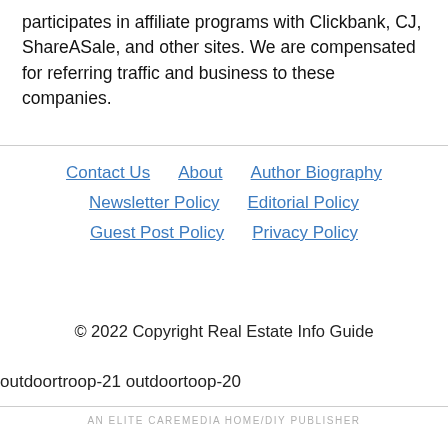participates in affiliate programs with Clickbank, CJ, ShareASale, and other sites. We are compensated for referring traffic and business to these companies.
Contact Us   About   Author Biography   Newsletter Policy   Editorial Policy   Guest Post Policy   Privacy Policy
© 2022 Copyright Real Estate Info Guide
outdoortroop-21 outdoortoop-20
AN ELITE CAREMEDIA HOME/DIY PUBLISHER